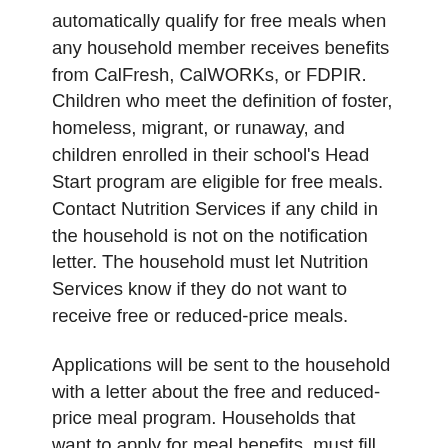automatically qualify for free meals when any household member receives benefits from CalFresh, CalWORKs, or FDPIR. Children who meet the definition of foster, homeless, migrant, or runaway, and children enrolled in their school's Head Start program are eligible for free meals. Contact Nutrition Services if any child in the household is not on the notification letter. The household must let Nutrition Services know if they do not want to receive free or reduced-price meals.
Applications will be sent to the household with a letter about the free and reduced-price meal program. Households that want to apply for meal benefits, must fill out one application for all children in the household and give it to the Nutrition Service Office – 880 South Lemon Avenue, Walnut, CA 91789.
Households may turn in an application at any time during the school year. If you are not eligible now, but your household income goes down, household size goes up, or a household